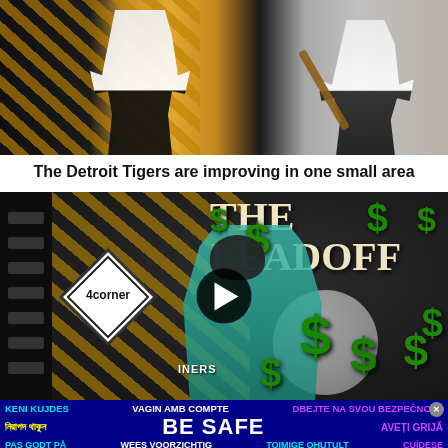[Figure (photo): Baseball players batting, one in white uniform on left, another on right against brick wall background with gold/yellow diagonal stripe pattern on left side]
The Detroit Tigers are improving in one small area
[Figure (screenshot): Video thumbnail for 'The Leadoff' show featuring a baseball player in teal Mariners jersey, with large green dollar signs, The Leadoff title text, a Corner logo diamond shape, and a baseball. Play button in center.]
[Figure (infographic): Dark blue 'BE SAFE' multilingual safety banner with text in multiple languages: KENI KUJDES, VAGIN AMB COMPTE, DBEJTE NA SVOU BEZPECNOST, Bengali text, BE SAFE, AVETI GRIJA, PAS GODT PA, WEES VOORZICHTIG, TOIMIGE OHUTULT, CUIDESE]